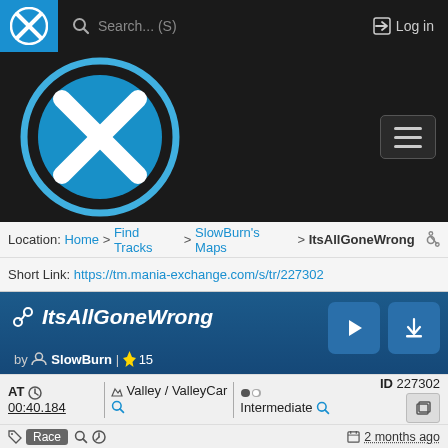[Figure (screenshot): Mania Exchange website navigation bar with logo, search field, and login button]
[Figure (logo): Mania Exchange circular logo with X mark in blue on dark background]
Location: Home > Find Tracks > SlowBurn's Maps > ItsAllGoneWrong
Short Link: https://tm.mania-exchange.com/s/tr/227302
ItsAllGoneWrong
by SlowBurn | 15
AT 00:40.184
Valley / ValleyCar
Intermediate
ID 227302
Race
2 months ago
Visible (approved) | Released
Show Map details
Report map